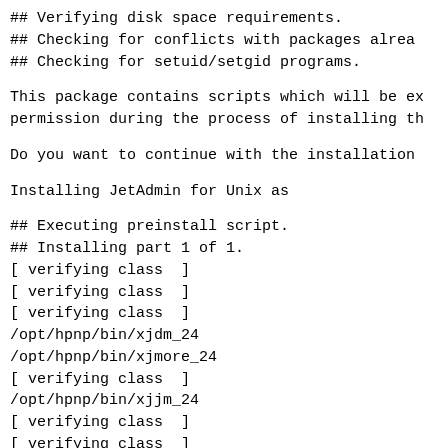## Verifying disk space requirements.
## Checking for conflicts with packages alrea
## Checking for setuid/setgid programs.
This package contains scripts which will be ex
permission during the process of installing th
Do you want to continue with the installation
Installing JetAdmin for Unix as
## Executing preinstall script.
## Installing part 1 of 1.
[ verifying class  ]
[ verifying class  ]
[ verifying class  ]
/opt/hpnp/bin/xjdm_24
/opt/hpnp/bin/xjmore_24
[ verifying class  ]
/opt/hpnp/bin/xjjm_24
[ verifying class  ]
[ verifying class  ]
/opt/hpnp/sh/dumbplot
/opt/hpnp/sh/dumbplot_printer
/opt/hpnp/sh/dumbplot_printer_cr